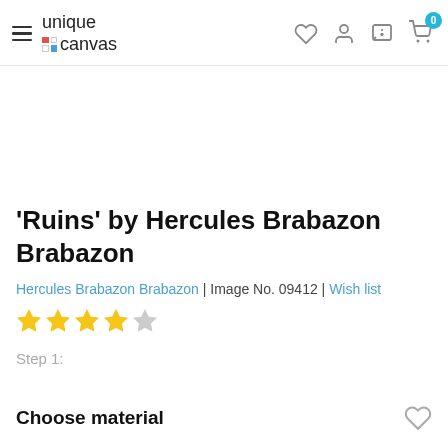unique canvas
'Ruins' by Hercules Brabazon Brabazon
Hercules Brabazon Brabazon | Image No. 09412 | Wish list
★★★★☆ (4 out of 5 stars)
Step 1:
Choose material